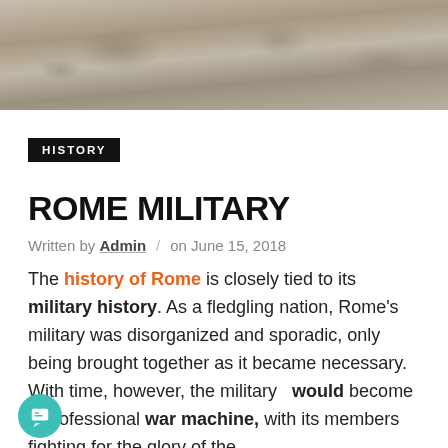[Figure (photo): Stone relief carving showing Roman figures, cropped at top of page]
HISTORY
ROME MILITARY
Written by Admin / on June 15, 2018
The history of Rome is closely tied to its military history. As a fledgling nation, Rome's military was disorganized and sporadic, only being brought together as it became necessary. With time, however, the military would become a professional war machine, with its members fighting for the glory of the